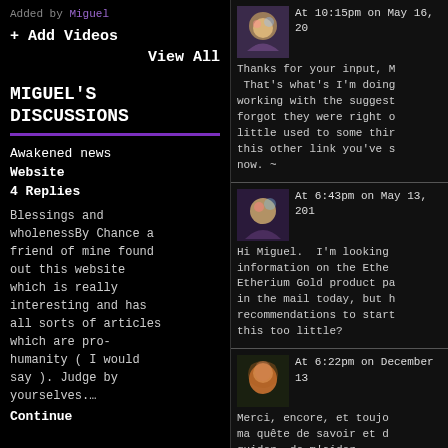Added by Miguel
+ Add Videos
View All
MIGUEL'S DISCUSSIONS
Awakened news Website
4 Replies
Blessings and wholenessBy Chance a friend of mine found out this website which is really interesting and has all sorts of articles which are pro-humanity ( I would say ). Judge by yourselves....
Continue
At 10:15pm on May 16, 20
Thanks for your input, M That's what's I'm doing working with the suggest forgot they were right o little used to some thir this other link you've s now. ~
At 6:43pm on May 13, 201
Hi Miguel. I'm looking information on the Ethe Etherium Gold product pa in the mail today, but h recommendations to start this too little?
At 6:22pm on December 13
Merci, encore, et toujo ma quête de savoir et d guider, de m'aider.
C'est grâce à toi si je momentum.
Que l'amour fleurit et t
<3